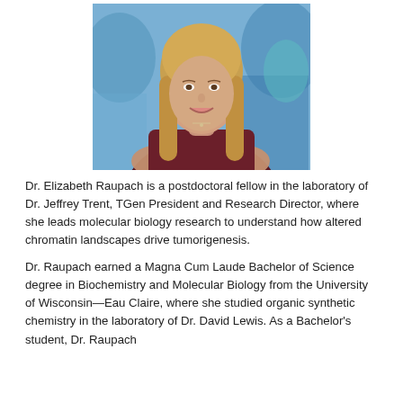[Figure (photo): Headshot of Dr. Elizabeth Raupach, a woman with long blonde hair wearing a dark maroon/burgundy sleeveless top, arms crossed, smiling, with a blurred laboratory background.]
Dr. Elizabeth Raupach is a postdoctoral fellow in the laboratory of Dr. Jeffrey Trent, TGen President and Research Director, where she leads molecular biology research to understand how altered chromatin landscapes drive tumorigenesis.
Dr. Raupach earned a Magna Cum Laude Bachelor of Science degree in Biochemistry and Molecular Biology from the University of Wisconsin—Eau Claire, where she studied organic synthetic chemistry in the laboratory of Dr. David Lewis. As a Bachelor's student, Dr. Raupach